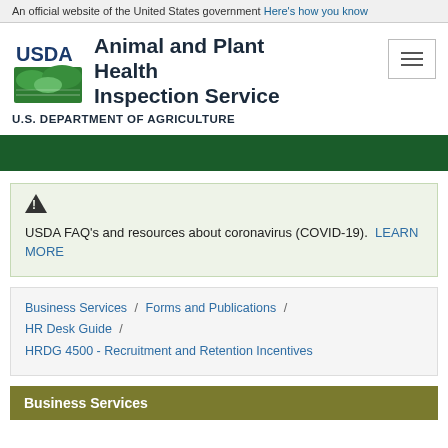An official website of the United States government Here's how you know
[Figure (logo): USDA Animal and Plant Health Inspection Service logo with green landscape graphic and 'USDA' text]
Animal and Plant Health Inspection Service
U.S. DEPARTMENT OF AGRICULTURE
USDA FAQ's and resources about coronavirus (COVID-19). LEARN MORE
Business Services / Forms and Publications / HR Desk Guide / HRDG 4500 - Recruitment and Retention Incentives
Business Services